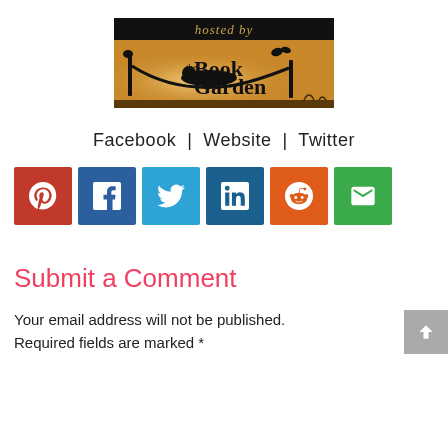[Figure (logo): The Book Garden logo: 'hosted by' in italic text on black banner, silhouette of person reading in hammock between two posts, golden/amber background with butterflies and plant details, text reads 'the Book Garden']
Facebook | Website | Twitter
[Figure (infographic): Row of six social media share buttons: Pinterest (red), Facebook (dark blue), Twitter (light blue), LinkedIn (dark blue), Reddit (orange), Email (green)]
Submit a Comment
Your email address will not be published. Required fields are marked *